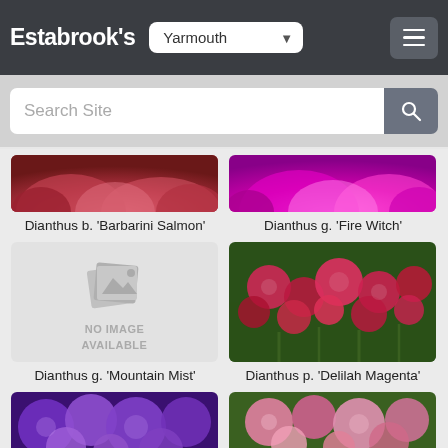Estabrook's — Yarmouth
Search Site
[Figure (photo): Partial top of Dianthus b. 'Barbarini Salmon' flower — pink/red petals close-up]
Dianthus b. 'Barbarini Salmon'
[Figure (photo): Partial top of Dianthus g. 'Fire Witch' flower — vivid magenta/pink petals close-up]
Dianthus g. 'Fire Witch'
[Figure (photo): No image available placeholder for Dianthus g. 'Mountain Mist']
Dianthus g. 'Mountain Mist'
[Figure (photo): Dianthus p. 'Delilah Magenta' — field of deep red/magenta carnation-like flowers with green foliage]
Dianthus p. 'Delilah Magenta'
[Figure (photo): Partial bottom — purple flowers close-up]
[Figure (photo): Partial bottom — pink flowers close-up]